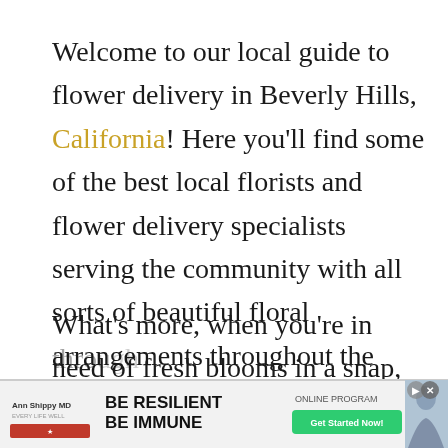Welcome to our local guide to flower delivery in Beverly Hills, California! Here you'll find some of the best local florists and flower delivery specialists serving the community with all sorts of beautiful floral arrangements throughout the year.
What's more, when you're in need of fresh blooms in a snap, many offer speedy same-day flower delivery in Beverly Hills in addition to daily delivery options throughout the year...
[Figure (other): Advertisement banner: Ann Shippy MD - BE RESILIENT BE IMMUNE - ONLINE PROGRAM - Get Started Now!]